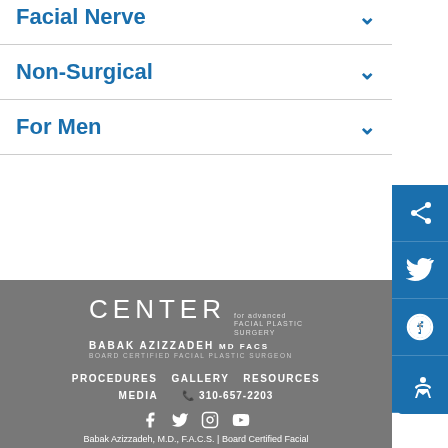Facial Nerve
Non-Surgical
For Men
CENTER for advanced FACIAL PLASTIC SURGERY | BABAK AZIZZADEH MD FACS | BOARD CERTIFIED FACIAL PLASTIC SURGEON | PROCEDURES | GALLERY | RESOURCES | MEDIA | 310-657-2203 | Babak Azizzadeh, M.D., F.A.C.S. | Board Certified Facial